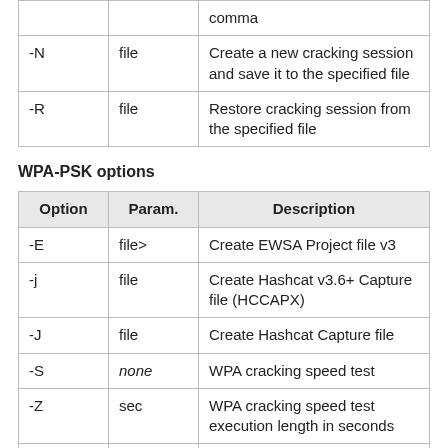|  |  | comma |
| -N | file | Create a new cracking session and save it to the specified file |
| -R | file | Restore cracking session from the specified file |
WPA-PSK options
| Option | Param. | Description |
| --- | --- | --- |
| -E | file> | Create EWSA Project file v3 |
| -j | file | Create Hashcat v3.6+ Capture file (HCCAPX) |
| -J | file | Create Hashcat Capture file |
| -S | none | WPA cracking speed test |
| -Z | sec | WPA cracking speed test execution length in seconds |
| -r | database | Utilizes a database generated by |